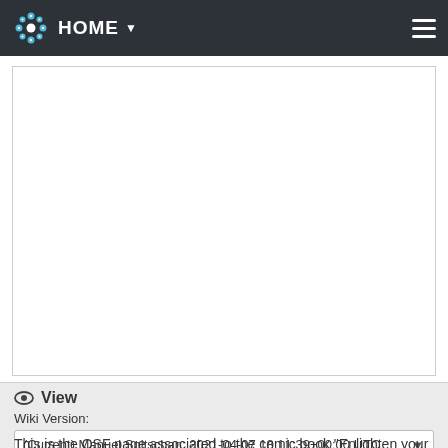HOME
[Figure (other): Large white empty content area with border, representing a wiki page content region]
View
Wiki Version:
(Current) Manuel Spitschan: 2021-04-07 18:11:39+00:00 UTC
This is the OSF page associated to the comic book "Enlighten your clock: How your body tells time"